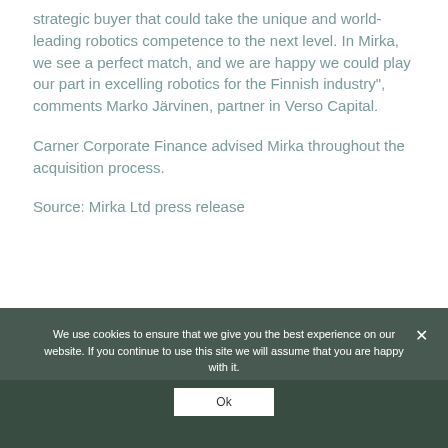strategic buyer that could take the unique and world-leading robotics competence to the next level. In Mirka, we see a perfect match, and we are happy we could play our part in excelling robotics for the Finnish industry", comments Marko Järvinen, partner in Verso Capital.
Carner Corporate Finance advised Mirka throughout the acquisition process.
Source: Mirka Ltd press release
We use cookies to ensure that we give you the best experience on our website. If you continue to use this site we will assume that you are happy with it.